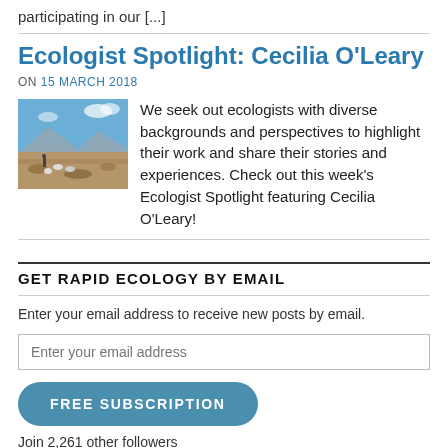participating in our [...]
Ecologist Spotlight: Cecilia O'Leary
ON 15 MARCH 2018
[Figure (photo): Landscape photo of a dry, arid environment with animals (possibly sheep or goats) and a person in the background, with mountains visible under a blue sky.]
We seek out ecologists with diverse backgrounds and perspectives to highlight their work and share their stories and experiences. Check out this week's Ecologist Spotlight featuring Cecilia O'Leary!
GET RAPID ECOLOGY BY EMAIL
Enter your email address to receive new posts by email.
Enter your email address
FREE SUBSCRIPTION
Join 2,261 other followers